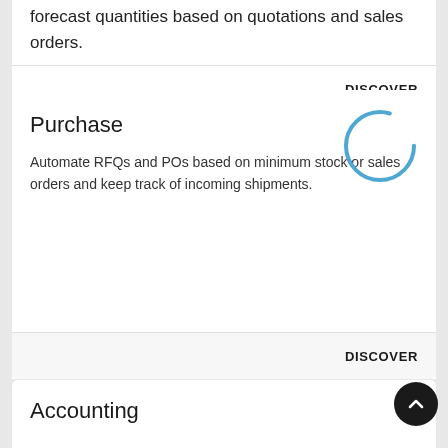forecast quantities based on quotations and sales orders.
DISCOVER
Purchase
Automate RFQs and POs based on minimum stock or sales orders and keep track of incoming shipments.
DISCOVER
Accounting